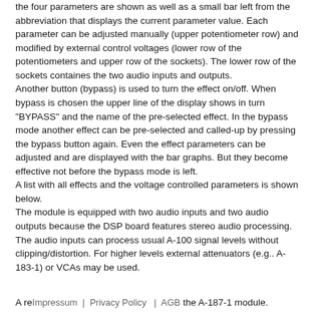the four parameters are shown as well as a small bar left from the abbreviation that displays the current parameter value. Each parameter can be adjusted manually (upper potentiometer row) and modified by external control voltages (lower row of the potentiometers and upper row of the sockets). The lower row of the sockets containes the two audio inputs and outputs. Another button (bypass) is used to turn the effect on/off. When bypass is chosen the upper line of the display shows in turn "BYPASS" and the name of the pre-selected effect. In the bypass mode another effect can be pre-selected and called-up by pressing the bypass button again. Even the effect parameters can be adjusted and are displayed with the bar graphs. But they become effective not before the bypass mode is left. A list with all effects and the voltage controlled parameters is shown below. The module is equipped with two audio inputs and two audio outputs because the DSP board features stereo audio processing. The audio inputs can process usual A-100 signal levels without clipping/distortion. For higher levels external attenuators (e.g.. A-183-1) or VCAs may be used.
A re[Impressum | Privacy Policy | AGB] the A-187-1 module.